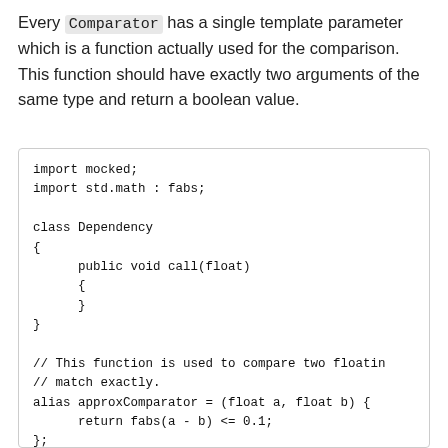Every Comparator has a single template parameter which is a function actually used for the comparison. This function should have exactly two arguments of the same type and return a boolean value.
import mocked;
import std.math : fabs;

class Dependency
{
    public void call(float)
    {
    }
}

// This function is used to compare two floatin
// match exactly.
alias approxComparator = (float a, float b) {
    return fabs(a - b) <= 0.1;
};
auto mocker = configure!(Comparator!approxCompa
auto builder = mocker.mock!Dependency;

builder.expect.call(1.01);

auto mock = builder.get;

mock.call(1.02);